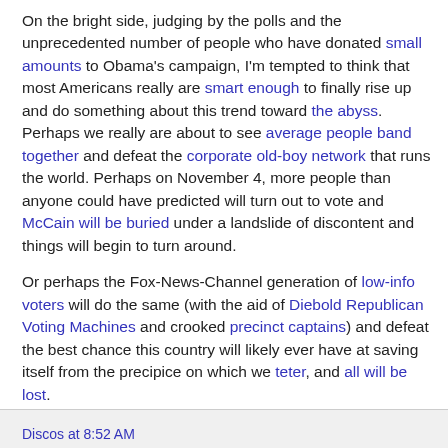On the bright side, judging by the polls and the unprecedented number of people who have donated small amounts to Obama's campaign, I'm tempted to think that most Americans really are smart enough to finally rise up and do something about this trend toward the abyss. Perhaps we really are about to see average people band together and defeat the corporate old-boy network that runs the world. Perhaps on November 4, more people than anyone could have predicted will turn out to vote and McCain will be buried under a landslide of discontent and things will begin to turn around.
Or perhaps the Fox-News-Channel generation of low-info voters will do the same (with the aid of Diebold Republican Voting Machines and crooked precinct captains) and defeat the best chance this country will likely ever have at saving itself from the precipice on which we teter, and all will be lost.
I continue to quake in my boots.
Discos at 8:52 AM